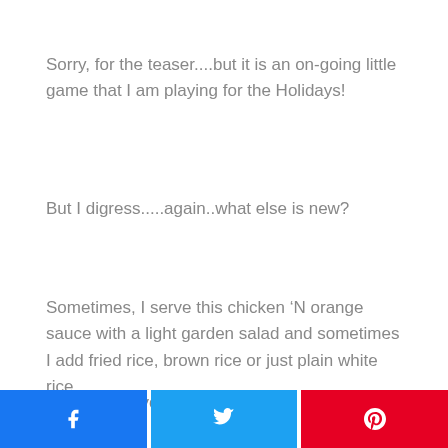Sorry, for the teaser....but it is an on-going little game that I am playing for the Holidays!
But I digress.....again..what else is new?
Sometimes, I serve this chicken ‘N orange sauce with a light garden salad and sometimes I add fried rice, brown rice or just plain white rice.
Whatever is your fancy.
[Figure (other): Social share buttons: Facebook (blue), Twitter (light blue), Pinterest (red)]